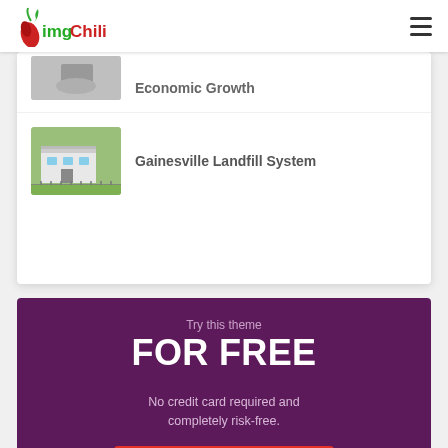imgChili
Economic Growth
Gainesville Landfill System
Try this theme FOR FREE
No credit card required and completely risk-free.
TRY IT FOR FREE